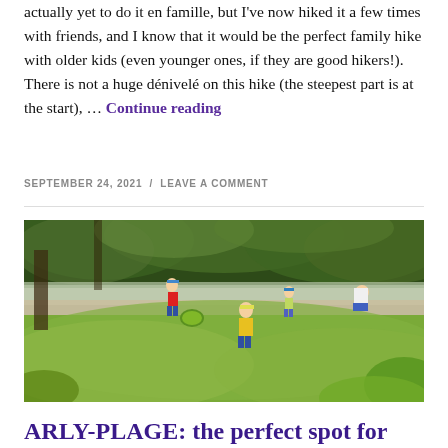actually yet to do it en famille, but I've now hiked it a few times with friends, and I know that it would be the perfect family hike with older kids (even younger ones, if they are good hikers!).  There is not a huge dénivelé on this hike (the steepest part is at the start), … Continue reading
SEPTEMBER 24, 2021 / LEAVE A COMMENT
[Figure (photo): Outdoor scene showing children and adults near a river or stream, with green grass in the foreground, trees in the background, and people playing near the water.]
ARLY-PLAGE: the perfect spot for